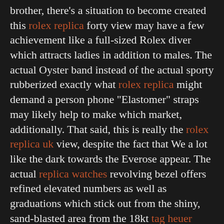brother, there's a situation to become created this rolex replica forty view may have a few achievement like a full-sized Rolex diver which attracts ladies in addition to males. The actual Oyster band instead of the actual sporty rubberized exactly what rolex replica might demand a person phone "Elastomer" straps may likely help to make which market, additionally. That said, this is really the rolex replica uk view, despite the fact that We a lot like the dark towards the Everose appear. The actual replica watches revolving bezel offers refined elevated numbers as well as graduations which stick out from the shiny, sand-blasted area from the 18kt tag heuer replica sale precious metal bezel.
24 March 2017 at 06:30